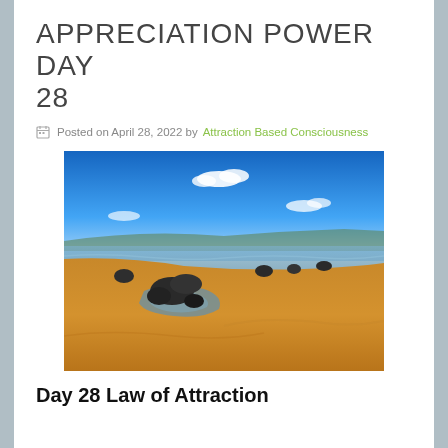APPRECIATION POWER DAY 28
Posted on April 28, 2022 by Attraction Based Consciousness
[Figure (photo): A scenic beach landscape at low tide with golden sand, rock formations, tidal pools, and a vivid blue sky with white clouds.]
Day 28 Law of Attraction